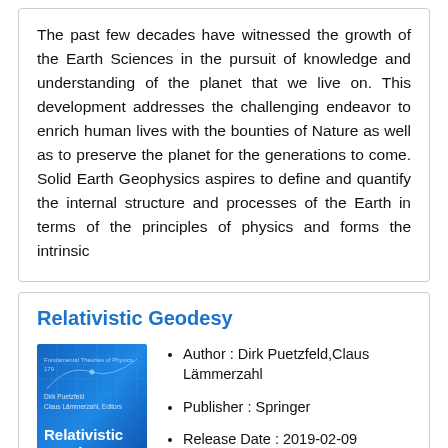The past few decades have witnessed the growth of the Earth Sciences in the pursuit of knowledge and understanding of the planet that we live on. This development addresses the challenging endeavor to enrich human lives with the bounties of Nature as well as to preserve the planet for the generations to come. Solid Earth Geophysics aspires to define and quantify the internal structure and processes of the Earth in terms of the principles of physics and forms the intrinsic
Relativistic Geodesy
[Figure (illustration): Book cover of Relativistic Geodesy with blue gradient background and grid pattern, showing title and authors Dirk Puetzfeld and Claus Lämmerzahl]
Author : Dirk Puetzfeld,Claus Lämmerzahl
Publisher : Springer
Release Date : 2019-02-09